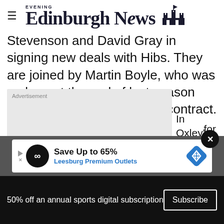Edinburgh Evening News
Stevenson and David Gray in signing new deals with Hibs. They are joined by Martin Boyle, who was on loan at the end of last season and has now agreed a new contract.
[Figure (other): Advertisement placeholder box]
In Oxley's estimation, Hibs are far
[Figure (other): Advertisement banner: Save Up to 65% Leesburg Premium Outlets]
for
50% off an annual sports digital subscription  Subscribe